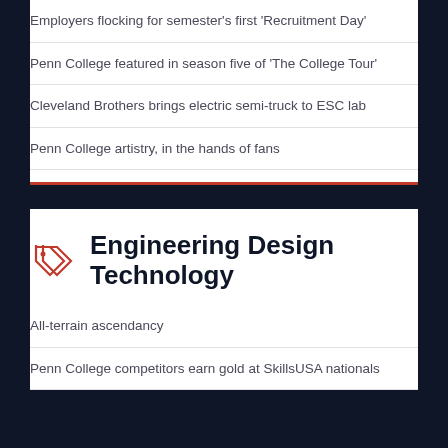Employers flocking for semester’s first ‘Recruitment Day’
Penn College featured in season five of ‘The College Tour’
Cleveland Brothers brings electric semi-truck to ESC lab
Penn College artistry, in the hands of fans
Engineering Design Technology
All-terrain ascendancy
Penn College competitors earn gold at SkillsUSA nationals